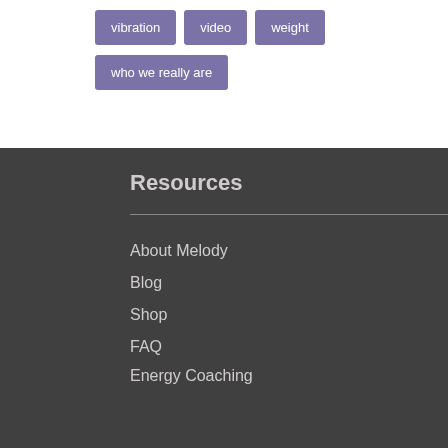vibration
video
weight
who we really are
Resources
About Melody
Blog
Shop
FAQ
Energy Coaching